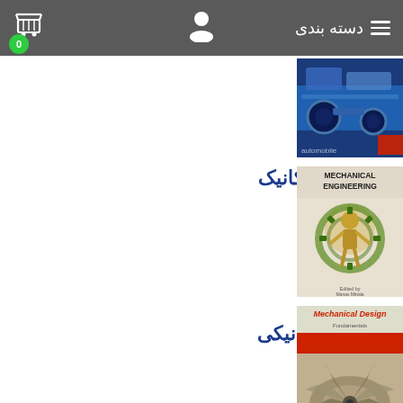دسته بندی
[Figure (screenshot): Partial book cover showing a car engine, top right, partially cropped]
مهندسی مکانیک
[Figure (illustration): Book cover: Mechanical Engineering, showing a golden mechanical figure with gears]
طراحی مکانیکی
[Figure (illustration): Book cover: Mechanical Design, showing a red sports car]
[Figure (photo): Partial book cover showing turbine blades, bottom right, partially cropped]